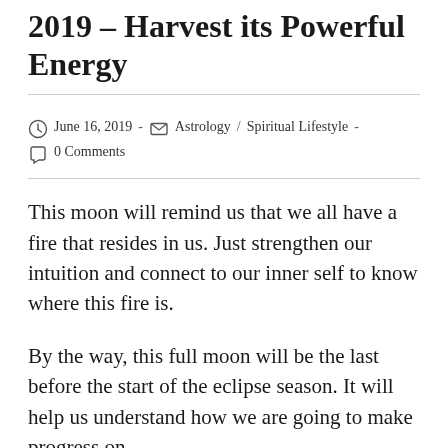2019 – Harvest its Powerful Energy
June 16, 2019  ·  Astrology  /  Spiritual Lifestyle  ·  0 Comments
This moon will remind us that we all have a fire that resides in us. Just strengthen our intuition and connect to our inner self to know where this fire is.
By the way, this full moon will be the last before the start of the eclipse season. It will help us understand how we are going to make progress on